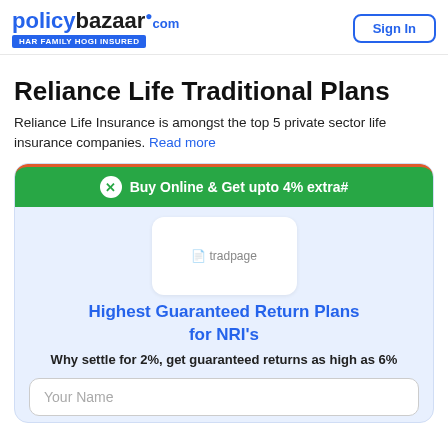policybazaar.com HAR FAMILY HOGI INSURED | Sign In
Reliance Life Traditional Plans
Reliance Life Insurance is amongst the top 5 private sector life insurance companies. Read more
[Figure (infographic): Promotional card with green banner 'Buy Online & Get upto 4% extra#', tradpage image box, blue heading 'Highest Guaranteed Return Plans for NRI's', subtext 'Why settle for 2%, get guaranteed returns as high as 6%', and a 'Your Name' input field]
Buy Online & Get upto 4% extra#
Highest Guaranteed Return Plans for NRI's
Why settle for 2%, get guaranteed returns as high as 6%
Your Name